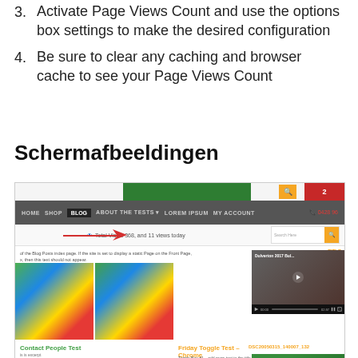3. Activate Page Views Count and use the options box settings to make the desired configuration
4. Be sure to clear any caching and browser cache to see your Page Views Count
Schermafbeeldingen
[Figure (screenshot): Screenshot of a WordPress blog page showing the Page Views Count plugin in action, with a navigation bar (HOME, SHOP, BLOG, ABOUT THE TESTS, LOREM IPSUM, MY ACCOUNT), a total views counter showing 'Total Views 368, and 11 views today' with a red arrow pointing to it, colorful swirl images, post titles 'Contact People Test' and 'Friday Toggle Test – Chrome', a video thumbnail 'Dulverton 2017 Bul...' and a green plant image]